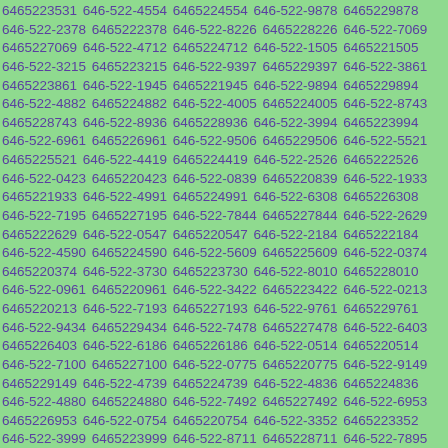6465223531 646-522-4554 6465224554 646-522-9878 6465229878 646-522-2378 6465222378 646-522-8226 6465228226 646-522-7069 6465227069 646-522-4712 6465224712 646-522-1505 6465221505 646-522-3215 6465223215 646-522-9397 6465229397 646-522-3861 6465223861 646-522-1945 6465221945 646-522-9894 6465229894 646-522-4882 6465224882 646-522-4005 6465224005 646-522-8743 6465228743 646-522-8936 6465228936 646-522-3994 6465223994 646-522-6961 6465226961 646-522-9506 6465229506 646-522-5521 6465225521 646-522-4419 6465224419 646-522-2526 6465222526 646-522-0423 6465220423 646-522-0839 6465220839 646-522-1933 6465221933 646-522-4991 6465224991 646-522-6308 6465226308 646-522-7195 6465227195 646-522-7844 6465227844 646-522-2629 6465222629 646-522-0547 6465220547 646-522-2184 6465222184 646-522-4590 6465224590 646-522-5609 6465225609 646-522-0374 6465220374 646-522-3730 6465223730 646-522-8010 6465228010 646-522-0961 6465220961 646-522-3422 6465223422 646-522-0213 6465220213 646-522-7193 6465227193 646-522-9761 6465229761 646-522-9434 6465229434 646-522-7478 6465227478 646-522-6403 6465226403 646-522-6186 6465226186 646-522-0514 6465220514 646-522-7100 6465227100 646-522-0775 6465220775 646-522-9149 6465229149 646-522-4739 6465224739 646-522-4836 6465224836 646-522-4880 6465224880 646-522-7492 6465227492 646-522-6953 6465226953 646-522-0754 6465220754 646-522-3352 6465223352 646-522-3999 6465223999 646-522-8711 6465228711 646-522-7895 6465227895 646-522-4223 6465224223 646-522-5328 6465225328